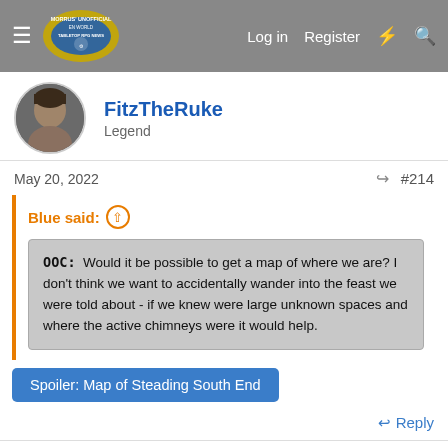Morrus' Unofficial Tabletop RPG News — Log in | Register
FitzTheRuke
Legend
May 20, 2022   #214
Blue said:
OOC: Would it be possible to get a map of where we are? I don't think we want to accidentally wander into the feast we were told about - if we knew were large unknown spaces and where the active chimneys were it would help.
Spoiler: Map of Steading South End
Reply
Lidgar